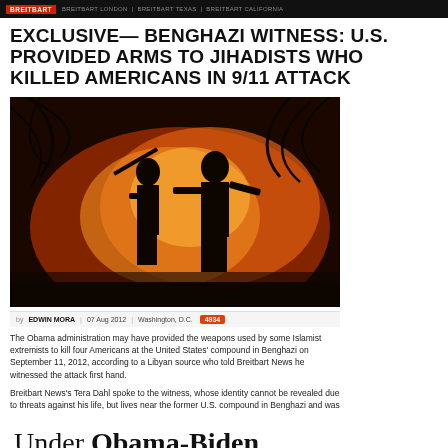BREITBART | BREITBART LONDON | BREITBART TEXAS | BREITBART CALIFORNIA
EXCLUSIVE— BENGHAZI WITNESS: U.S. PROVIDED ARMS TO JIHADISTS WHO KILLED AMERICANS IN 9/11 ATTACK
[Figure (photo): Silhouettes of armed figures against a large fire with orange and red flames and palm tree leaves in background]
by EDWIN MORA | 07 Aug 2012 | Washington, D.C.
The Obama administration may have provided the weapons used by some Islamist extremists to kill four Americans at the United States' compound in Benghazi on September 11, 2012, according to a Libyan source who told Breitbart News he witnessed the attack first hand.
Breitbart News's Tera Dahl spoke to the witness, whose identity cannot be revealed due to threats against his life, but lives near the former U.S. compound in Benghazi and was
Under Obama-Biden Administration, the U.S. supported the Muslim Brotherhood's